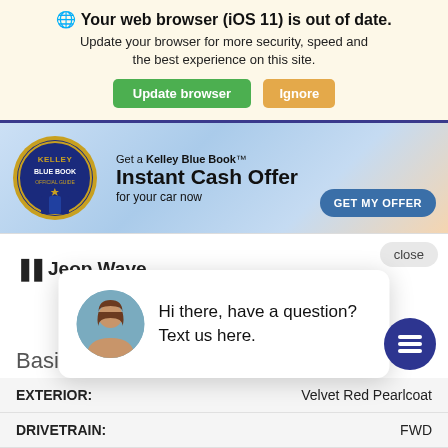🌐 Your web browser (iOS 11) is out of date. Update your browser for more security, speed and the best experience on this site.
Update browser | Ignore
[Figure (logo): Kelley Blue Book official guide seal logo with 'Get a Kelley Blue Book Instant Cash Offer for your car now' and GET MY OFFER button]
close
Jeep Wave
Hi there, have a question? Text us here.
Basic Info
|  |  |
| --- | --- |
| EXTERIOR: | Velvet Red Pearlcoat |
| DRIVETRAIN: | FWD |